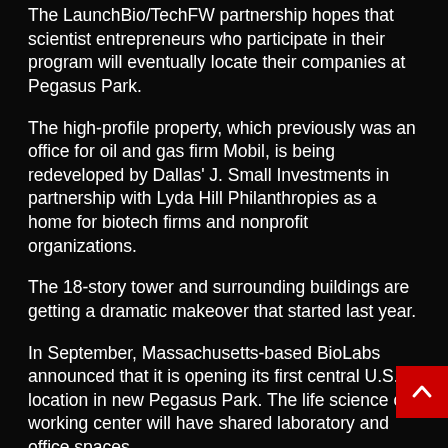The LaunchBio/TechFW partnership hopes that scientist entrepreneurs who participate in their program will eventually locate their companies at Pegasus Park.
The high-profile property, which previously was an office for oil and gas firm Mobil, is being redeveloped by Dallas' J. Small Investments in partnership with Lyda Hill Philanthropies as a home for biotech firms and nonprofit organizations.
The 18-story tower and surrounding buildings are getting a dramatic makeover that started last year.
In September, Massachusetts-based BioLabs announced that it is opening its first central U.S. location in new Pegasus Park. The life science co-working center will have shared laboratory and office spaces.